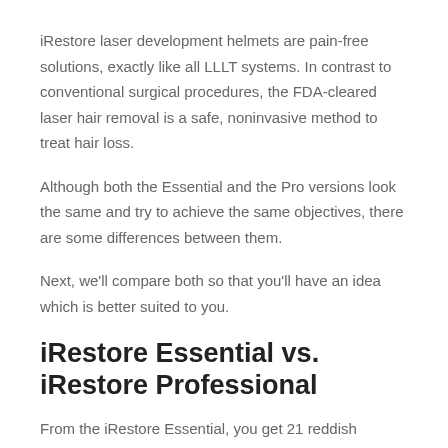iRestore laser development helmets are pain-free solutions, exactly like all LLLT systems. In contrast to conventional surgical procedures, the FDA-cleared laser hair removal is a safe, noninvasive method to treat hair loss.
Although both the Essential and the Pro versions look the same and try to achieve the same objectives, there are some differences between them.
Next, we'll compare both so that you'll have an idea which is better suited to you.
iRestore Essential vs. iRestore Professional
From the iRestore Essential, you get 21 reddish medical-grade lasers and 30 red super-luminescent light-emitting diodes incorporated into an outer helmet with a protective inner liner.